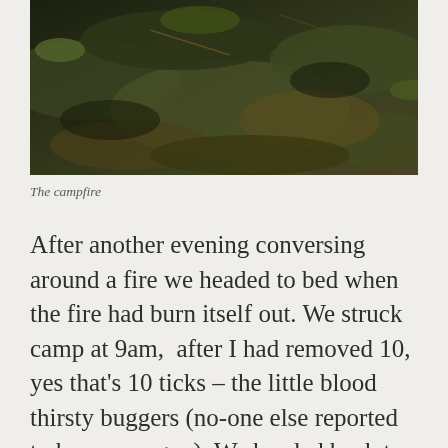[Figure (photo): A dark photograph showing ground covered with grass and earth, likely the remains of a campfire site.]
The campfire
After another evening conversing around a fire we headed to bed when the fire had burn itself out. We struck camp at 9am,  after I had removed 10, yes that’s 10 ticks – the little blood thirsty buggers (no-one else reported to have any, grrr). We headed back to the east coast to where we had got to the previous afternoon and found the footpath which led past a bunkhouse to the house known as Barnhill. Barnhil is where George Orwell came